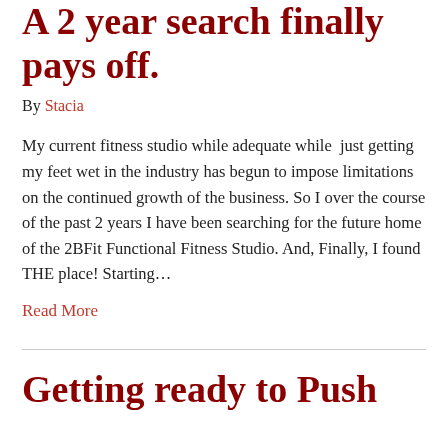A 2 year search finally pays off.
By Stacia
My current fitness studio while adequate while just getting my feet wet in the industry has begun to impose limitations on the continued growth of the business. So I over the course of the past 2 years I have been searching for the future home of the 2BFit Functional Fitness Studio. And, Finally, I found THE place! Starting…
Read More
Getting ready to Push